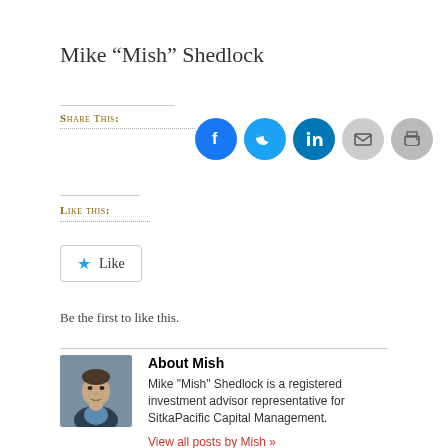Mike “Mish” Shedlock
Share this:
[Figure (infographic): Social sharing icons: Facebook (blue), Twitter (light blue), LinkedIn (dark blue), Email (grey), Print (grey)]
Like this:
[Figure (other): Like button with blue star icon]
Be the first to like this.
About Mish
Mike "Mish" Shedlock is a registered investment advisor representative for SitkaPacific Capital Management.
View all posts by Mish »